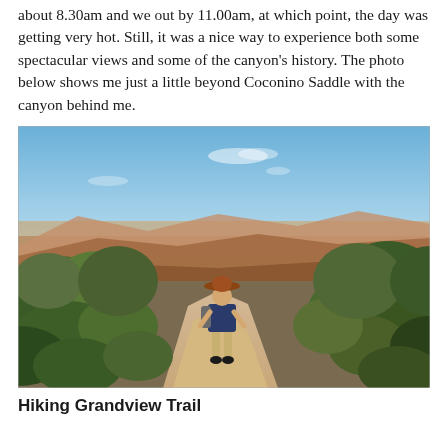about 8.30am and we out by 11.00am, at which point, the day was getting very hot. Still, it was a nice way to experience both some spectacular views and some of the canyon's history. The photo below shows me just a little beyond Coconino Saddle with the canyon behind me.
[Figure (photo): A hiker wearing a wide-brimmed hat and backpack stands on a dirt trail at Grand Canyon. Green shrubs and trees flank the trail on both sides. The Grand Canyon and blue sky are visible in the background.]
Hiking Grandview Trail